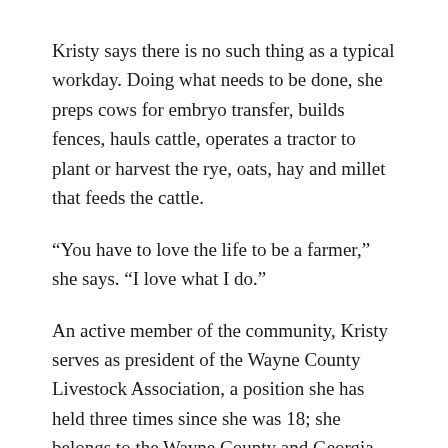Kristy says there is no such thing as a typical workday. Doing what needs to be done, she preps cows for embryo transfer, builds fences, hauls cattle, operates a tractor to plant or harvest the rye, oats, hay and millet that feeds the cattle.
“You have to love the life to be a farmer,” she says. “I love what I do.”
An active member of the community, Kristy serves as president of the Wayne County Livestock Association, a position she has held three times since she was 18; she belongs to the Wayne County and Georgia Young Farmers Associations; serves as Vice President of the Georgia Cattlemen’s Association; sits on the executive committee on the Beef Quality Assurance Committee; and she’s a supervisor for the Satilla District Georgia Soil & Water Conservation